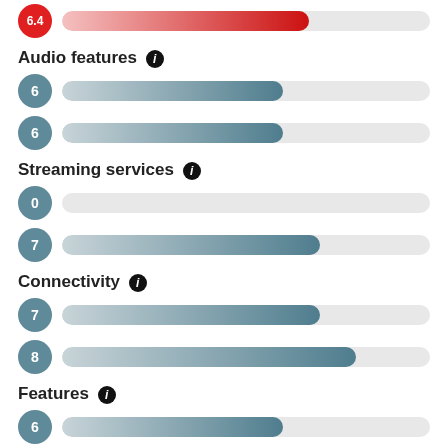[Figure (bar-chart): Score comparison bars]
Audio features
Streaming services
Connectivity
Features